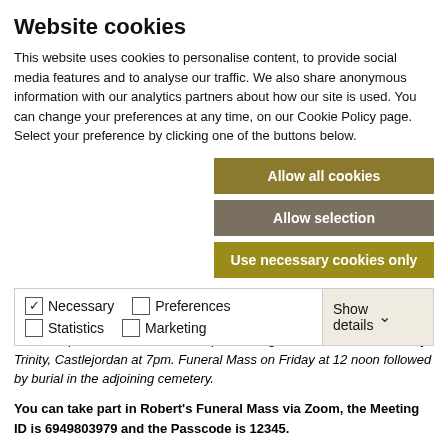Website cookies
This website uses cookies to personalise content, to provide social media features and to analyse our traffic. We also share anonymous information with our analytics partners about how our site is used. You can change your preferences at any time, on our Cookie Policy page. Select your preference by clicking one of the buttons below.
Allow all cookies
Allow selection
Use necessary cookies only
| Necessary | Preferences | Statistics | Show details |
| --- | --- | --- | --- |
| ✓ Necessary | ☐ Preferences | ☐ Statistics | Show details ∨ |
| ☐ Marketing |  |  |  |
Reposing at Larkin's Funeral Home, Edenderry this Thursday (19th May) from 4.30pm with Removal at 6.30pm arriving to The Church of the Holy Trinity, Castlejordan at 7pm. Funeral Mass on Friday at 12 noon followed by burial in the adjoining cemetery.
You can take part in Robert's Funeral Mass via Zoom, the Meeting ID is 6949803979 and the Passcode is 12345.
You can leave your condolences on the online condolence book below. The family would like to thank you for your understanding and support at this difficult and sad